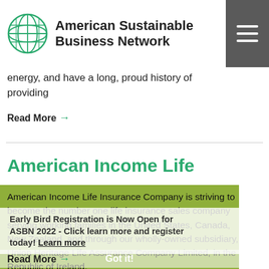American Sustainable Business Network
energy, and have a long, proud history of providing
Read More →
American Income Life
American Income Life Insurance Company is striving to become the number one life insurance sales company serving working families in the United States, Canada, New Zealand, and through our wholly-owned subsidiary, Union Heritage Life Assurance Company Limited, in the Republic of Ireland.
Read More →